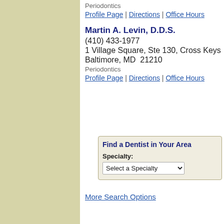Periodontics
Profile Page | Directions | Office Hours
Martin A. Levin, D.D.S.
(410) 433-1977
1 Village Square, Ste 130, Cross Keys
Baltimore, MD  21210
Periodontics
Profile Page | Directions | Office Hours
[Figure (screenshot): Find a Dentist in Your Area search widget with Specialty dropdown]
More Search Options